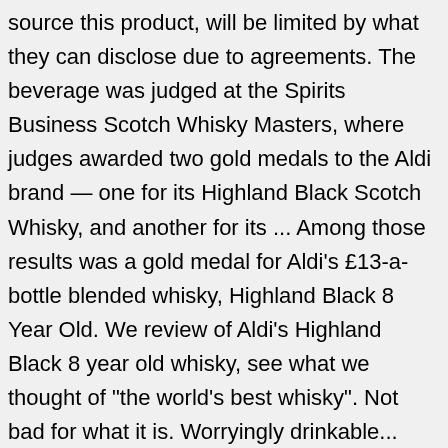source this product, will be limited by what they can disclose due to agreements. The beverage was judged at the Spirits Business Scotch Whisky Masters, where judges awarded two gold medals to the Aldi brand — one for its Highland Black Scotch Whisky, and another for its ... Among those results was a gold medal for Aldi's £13-a-bottle blended whisky, Highland Black 8 Year Old. We review of Aldi's Highland Black 8 year old whisky, see what we thought of "the world's best whisky". Not bad for what it is. Worryingly drinkable... Red wine vinegar nose, with a stacks of fruit. Now, please stop posting links to 'Is Aldi Highland Black is the best whisky in the world?' articles on Facebook. use the following search parameters to narrow your results: Please write a review on Scotchit and Submit below. This Highland Select Malt Scotch Whisky surpasses richness, complexity and flavour. Yes, my name appeared in Germany's third largest newspaper. Firstly, all of the whiskies in the competition were judged blind – I didn't know what medal Highland Black received until the results came out. I would have thought that there's lots of Speyside malt in this. Nose: Very